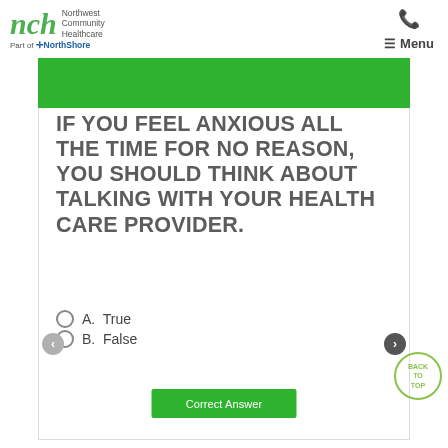nch Northwest Community Healthcare Part of NorthShore
IF YOU FEEL ANXIOUS ALL THE TIME FOR NO REASON, YOU SHOULD THINK ABOUT TALKING WITH YOUR HEALTH CARE PROVIDER.
A.  True
B.  False
Correct Answer